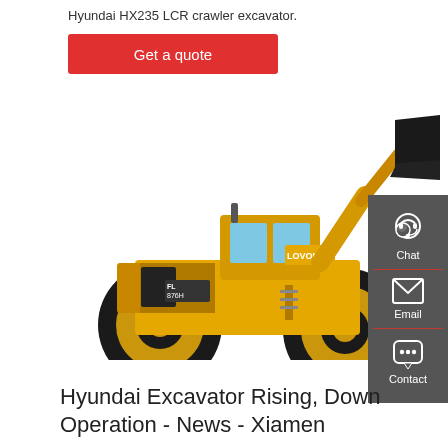Hyundai HX235 LCR crawler excavator.
Get a quote
[Figure (photo): Yellow Lovol wheel loader (model FL876H) with raised bucket arm, photographed against white background.]
[Figure (infographic): Dark grey sidebar with Chat, Email, and Contact icons/labels.]
Hyundai Excavator Rising, Down Operation - News - Xiamen